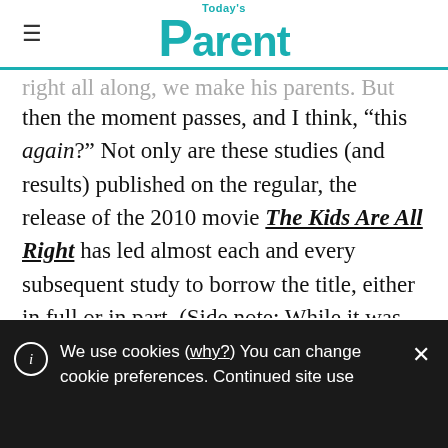Today's Parent
right all along, we make his parents. But then the moment passes, and I think, “this again?” Not only are these studies (and results) published on the regular, the release of the 2010 movie The Kids Are All Right has led almost each and every subsequent study to borrow the title, either in full or in part. (Side note: While it was nice to see a family drama featuring lesbian moms on the big screen, the movie was problematic in many ways. But that’s a
We use cookies (why?) You can change cookie preferences. Continued site use